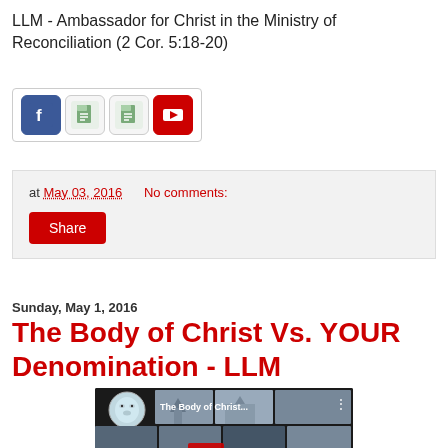LLM - Ambassador for Christ in the Ministry of Reconciliation (2 Cor. 5:18-20)
[Figure (screenshot): Social media share icons: Facebook, two document/image icons, YouTube]
at May 03, 2016   No comments:
Share
Sunday, May 1, 2016
The Body of Christ Vs. YOUR Denomination - LLM
[Figure (screenshot): YouTube video thumbnail showing 'The Body of Christ...' with a lion logo icon and church images in a grid layout]